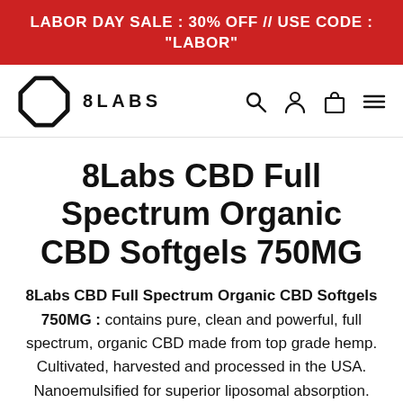LABOR DAY SALE : 30% OFF // USE CODE : "LABOR"
[Figure (logo): 8Labs logo — octagon shape with brand name '8LABS' in bold spaced letters]
8Labs CBD Full Spectrum Organic CBD Softgels 750MG
8Labs CBD Full Spectrum Organic CBD Softgels 750MG : contains pure, clean and powerful, full spectrum, organic CBD made from top grade hemp. Cultivated, harvested and processed in the USA. Nanoemulsified for superior liposomal absorption.